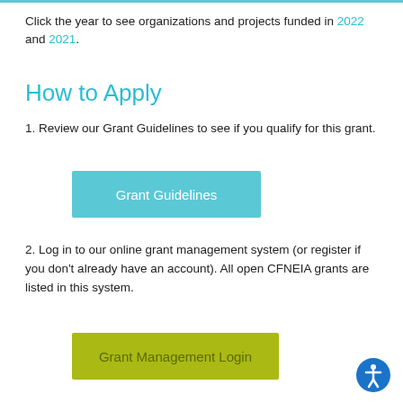Click the year to see organizations and projects funded in 2022 and 2021.
How to Apply
1. Review our Grant Guidelines to see if you qualify for this grant.
[Figure (other): Button labeled 'Grant Guidelines' with light blue background]
2. Log in to our online grant management system (or register if you don't already have an account). All open CFNEIA grants are listed in this system.
[Figure (other): Button labeled 'Grant Management Login' with yellow-green background]
[Figure (other): Accessibility icon (person in circle) in bottom-right corner]